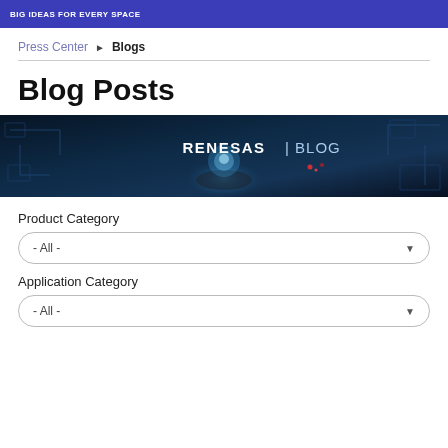BIG IDEAS FOR EVERY SPACE
Press Center > Blogs
Blog Posts
[Figure (photo): Renesas Blog banner image showing a person holding a glowing digital sphere, with text 'RENESAS | BLOG' overlaid on a dark blue tech background]
Product Category
- All -
Application Category
- All -